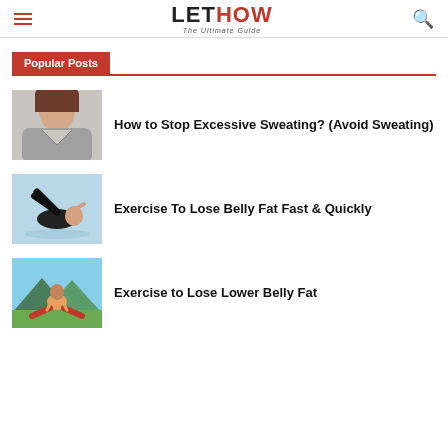LETHOW The Ultimate Guide
Popular Posts
[Figure (photo): Woman wearing gray top, neck visible, fitness/health context]
How to Stop Excessive Sweating? (Avoid Sweating)
[Figure (photo): Person doing crunches on a blue yoga mat, fitness exercise]
Exercise To Lose Belly Fat Fast & Quickly
[Figure (photo): Man meditating outdoors in yoga pose with mountains in background, wearing red pants]
Exercise to Lose Lower Belly Fat